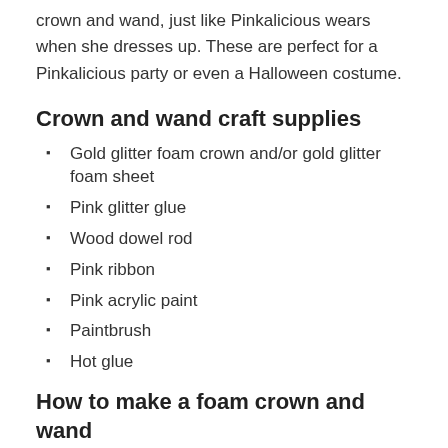crown and wand, just like Pinkalicious wears when she dresses up. These are perfect for a Pinkalicious party or even a Halloween costume.
Crown and wand craft supplies
Gold glitter foam crown and/or gold glitter foam sheet
Pink glitter glue
Wood dowel rod
Pink ribbon
Pink acrylic paint
Paintbrush
Hot glue
How to make a foam crown and wand